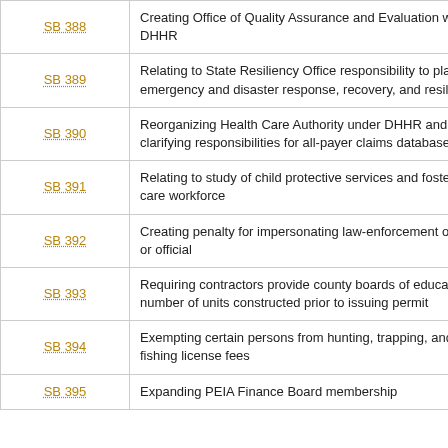| Bill | Description |
| --- | --- |
| SB 388 | Creating Office of Quality Assurance and Evaluation within DHHR |
| SB 389 | Relating to State Resiliency Office responsibility to plan for emergency and disaster response, recovery, and resiliency |
| SB 390 | Reorganizing Health Care Authority under DHHR and clarifying responsibilities for all-payer claims database |
| SB 391 | Relating to study of child protective services and foster care workforce |
| SB 392 | Creating penalty for impersonating law-enforcement officer or official |
| SB 393 | Requiring contractors provide county boards of education number of units constructed prior to issuing permit |
| SB 394 | Exempting certain persons from hunting, trapping, and fishing license fees |
| SB 395 | Expanding PEIA Finance Board membership |